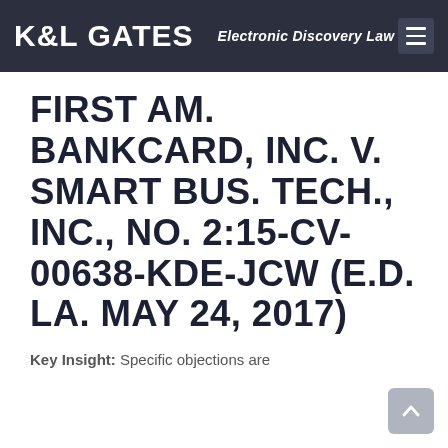K&L GATES  Electronic Discovery Law
FIRST AM. BANKCARD, INC. V. SMART BUS. TECH., INC., NO. 2:15-CV-00638-KDE-JCW (E.D. LA. MAY 24, 2017)
Key Insight: Specific objections are